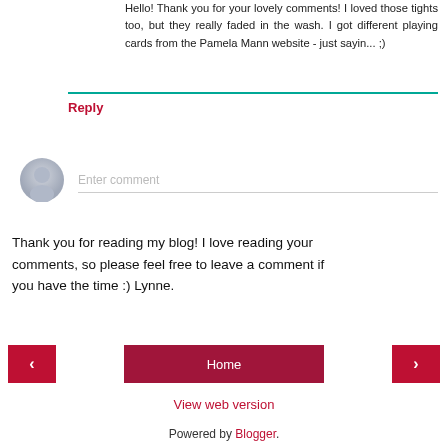Hello! Thank you for your lovely comments! I loved those tights too, but they really faded in the wash. I got different playing cards from the Pamela Mann website - just sayin... ;)
Reply
[Figure (other): Comment input field with avatar placeholder and 'Enter comment' placeholder text]
Thank you for reading my blog! I love reading your comments, so please feel free to leave a comment if you have the time :) Lynne.
< Home >
View web version
Powered by Blogger.